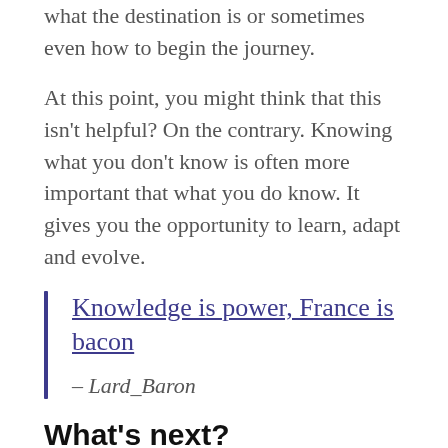what the destination is or sometimes even how to begin the journey.
At this point, you might think that this isn't helpful? On the contrary. Knowing what you don't know is often more important that what you do know. It gives you the opportunity to learn, adapt and evolve.
Knowledge is power, France is bacon
– Lard_Baron
What's next?
You've just had a discussion on what is actually important to the success of your project and your product. People's ideas were challenged and are hopefully more aligned. Questions were answered